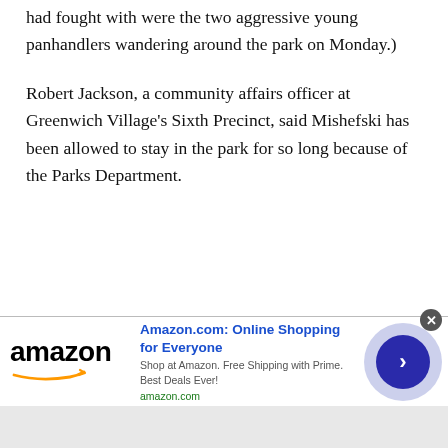had fought with were the two aggressive young panhandlers wandering around the park on Monday.)
Robert Jackson, a community affairs officer at Greenwich Village's Sixth Precinct, said Mishefski has been allowed to stay in the park for so long because of the Parks Department.
[Figure (other): Amazon advertisement banner: Amazon logo with orange arrow, headline 'Amazon.com: Online Shopping for Everyone', subtext 'Shop at Amazon. Free Shipping with Prime. Best Deals Ever!', domain 'amazon.com', and a dark blue circular arrow button on the right.]